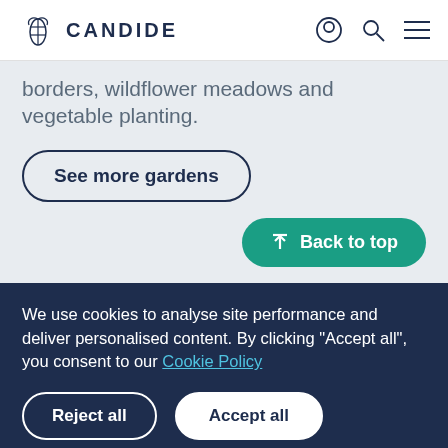CANDIDE
borders, wildflower meadows and vegetable planting.
See more gardens
↑ Back to top
We use cookies to analyse site performance and deliver personalised content. By clicking "Accept all", you consent to our Cookie Policy
Reject all
Accept all
∧ Overview